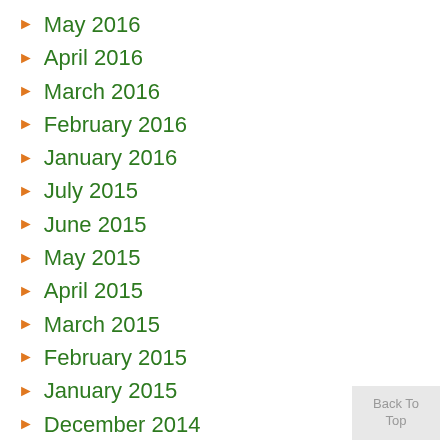May 2016
April 2016
March 2016
February 2016
January 2016
July 2015
June 2015
May 2015
April 2015
March 2015
February 2015
January 2015
December 2014
November 2014
October 2014
Back To Top